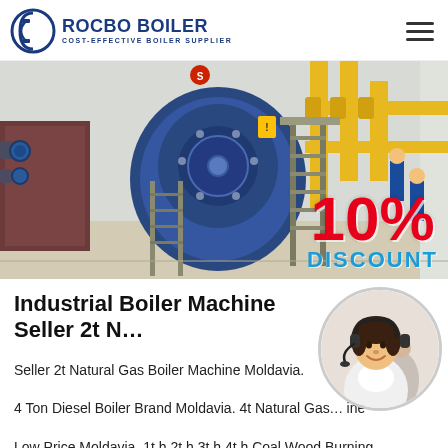ROCBO BOILER — COST-EFFECTIVE BOILER SUPPLIER
[Figure (photo): Industrial boiler room showing large blue cylindrical boiler with yellow pipework and staircases, with a 10% DISCOUNT badge overlaid in bottom right corner.]
Industrial Boiler Machine Seller 2t N…
[Figure (photo): Circular portrait of a woman wearing a headset/microphone, smiling, with another person blurred in the background — customer service representative.]
Seller 2t Natural Gas Boiler Machine Moldavia. 4 Ton Diesel Boiler Brand Moldavia. 4t Natural Gas… ine Low Price Moldavia. 1t h 2t h 3t h 4t h Coal Wood Burning